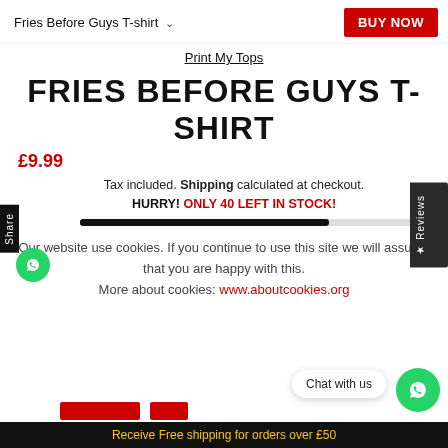Fries Before Guys T-shirt ∨
BUY NOW
Print My Tops
FRIES BEFORE GUYS T-SHIRT
£9.99
Tax included. Shipping calculated at checkout. HURRY! ONLY 40 LEFT IN STOCK!
Our website use cookies. If you continue to use this site we will assume that you are happy with this. More about cookies: www.aboutcookies.org
Chat with us
Receive Free shipping for orders over £50